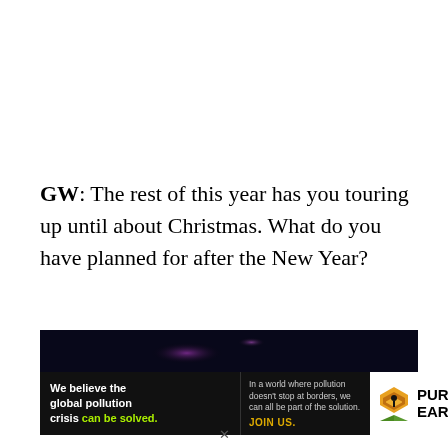GW: The rest of this year has you touring up until about Christmas. What do you have planned for after the New Year?
[Figure (infographic): Pure Earth advertisement banner with dark background showing colorful lights at top, white bold text on black background reading 'We believe the global pollution crisis can be solved.' with 'can be solved.' in green, middle section with small white text 'In a world where pollution doesn't stop at borders, we can all be part of the solution.' and 'JOIN US.' in yellow/gold, and Pure Earth logo with diamond icon on white background on the right.]